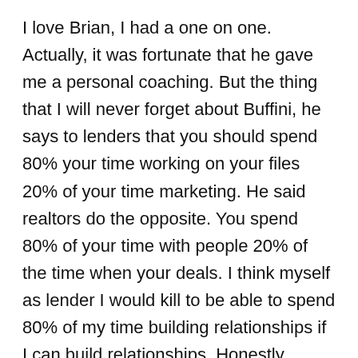I love Brian, I had a one on one. Actually, it was fortunate that he gave me a personal coaching. But the thing that I will never forget about Buffini, he says to lenders that you should spend 80% your time working on your files 20% of your time marketing. He said realtors do the opposite. You spend 80% of your time with people 20% of the time when your deals. I think myself as lender I would kill to be able to spend 80% of my time building relationships if I can build relationships. Honestly, there's a someone in our industry called xenyx Xl ni x and the woman who created this company she was the number one lender in all the southeastern United States your marriage number two lender from Merrill Lynch mortgage back when Merrill Lynch was was reality. and then